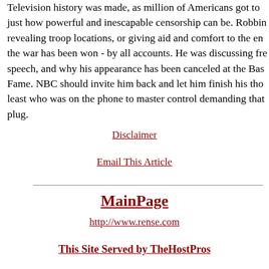Television history was made, as million of Americans got to just how powerful and inescapable censorship can be. Robbin revealing troop locations, or giving aid and comfort to the en the war has been won - by all accounts. He was discussing fre speech, and why his appearance has been canceled at the Bas Fame. NBC should invite him back and let him finish his tho least who was on the phone to master control demanding that plug.
Disclaimer
Email This Article
MainPage
http://www.rense.com
This Site Served by TheHostPros